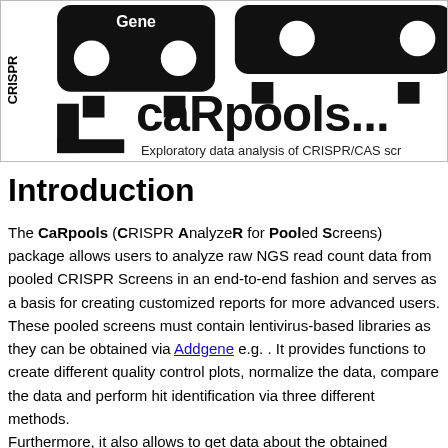[Figure (logo): caRpools software logo showing CRISPR/CAS screen analysis tool branding with bold 'caRpools...' text, gene diagram icons, and tagline 'Exploratory data analysis of CRISPR/CAS scr...']
Introduction
The CaRpools (CRISPR AnalyzeR for Pooled Screens) package allows users to analyze raw NGS read count data from pooled CRISPR Screens in an end-to-end fashion and serves as a basis for creating customized reports for more advanced users.
These pooled screens must contain lentivirus-based libraries as they can be obtained via Addgene e.g. . It provides functions to create different quality control plots, normalize the data, compare the data and perform hit identification via three different methods.
Furthermore, it also allows to get data about the obtained...